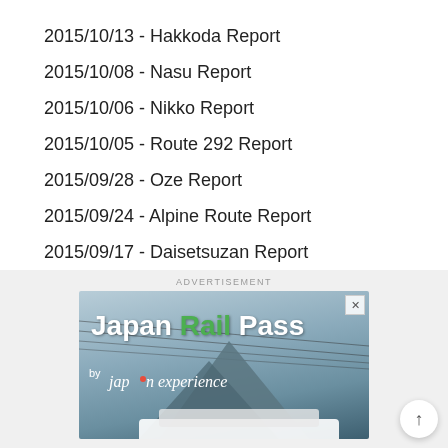2015/10/13 - Hakkoda Report
2015/10/08 - Nasu Report
2015/10/06 - Nikko Report
2015/10/05 - Route 292 Report
2015/09/28 - Oze Report
2015/09/24 - Alpine Route Report
2015/09/17 - Daisetsuzan Report
2015/09/16 - Daisetsuzan Report
ADVERTISEMENT
[Figure (photo): Japan Rail Pass advertisement banner by Japan Experience, showing a shinkansen train with a mountain backdrop and overhead wires]